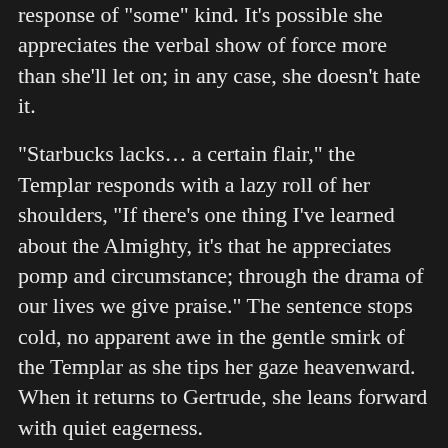response of "some" kind. It's possible she appreciates the verbal show of force more than she'll let on; in any case, she doesn't hate it.
"Starbucks lacks... a certain flair," the Templar responds with a lazy roll of her shoulders, "If there's one thing I've learned about the Almighty, it's that he appreciates pomp and circumstance; through the drama of our lives we give praise." The sentence stops cold, no apparent awe in the gentle smirk of the Templar as she tips her gaze heavenward. When it returns to Gertrude, she leans forward with quiet eagerness.
"My grandfather was named Wilhelm Koenig. One of the finest fighters in Germany. He trained with Herr Krauser, even knew him personally. He served in the Reich. He did..." Her hesitation is true now, not intended for melodrama. Her teeth gently close on her bottom lip, before she rejoins with a bittersweet twitch of the lips. "Things. Things we may or may not speak of, later, but I assume you at least know his name. My family clashed with the Verhangnis', and that's all I know. We may have fought alongside one another. We may have